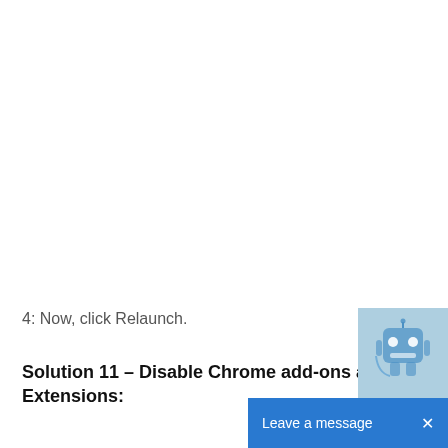4: Now, click Relaunch.
Solution 11 – Disable Chrome add-ons and Extensions: